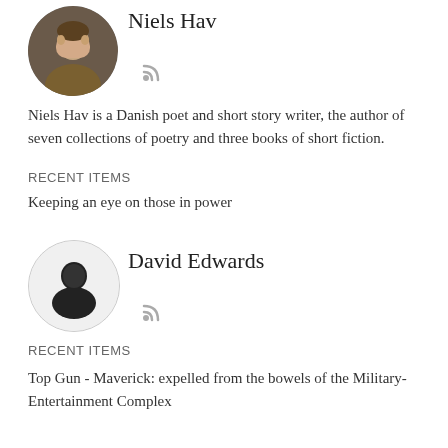Niels Hav
Niels Hav is a Danish poet and short story writer, the author of seven collections of poetry and three books of short fiction.
RECENT ITEMS
Keeping an eye on those in power
David Edwards
RECENT ITEMS
Top Gun - Maverick: expelled from the bowels of the Military-Entertainment Complex
Declan Geraghty
Declan Geraghty is a writer and poet from Dublin, with poetry